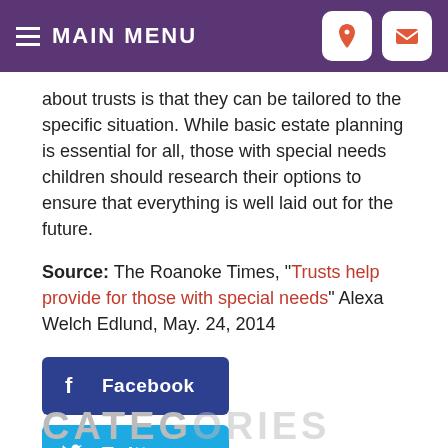MAIN MENU
about trusts is that they can be tailored to the specific situation. While basic estate planning is essential for all, those with special needs children should research their options to ensure that everything is well laid out for the future.
Source: The Roanoke Times, "Trusts help provide for those with special needs" Alexa Welch Edlund, May. 24, 2014
[Figure (other): Social media share buttons: Facebook, Twitter, LinkedIn]
CATEGORIES